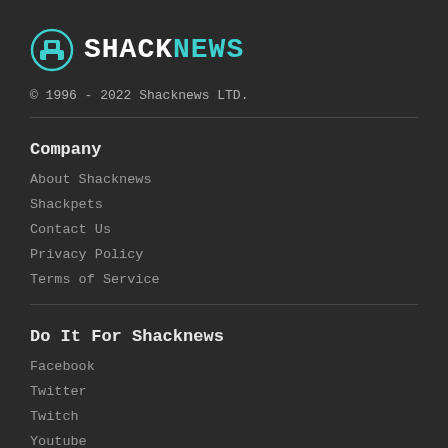[Figure (logo): Shacknews logo with circular icon and text SHACKNEWS where SHACK is white and NEWS is teal]
© 1996 - 2022 Shacknews LTD.
Company
About Shacknews
Shackpets
Contact Us
Privacy Policy
Terms of Service
Do It For Shacknews
Facebook
Twitter
Twitch
Youtube